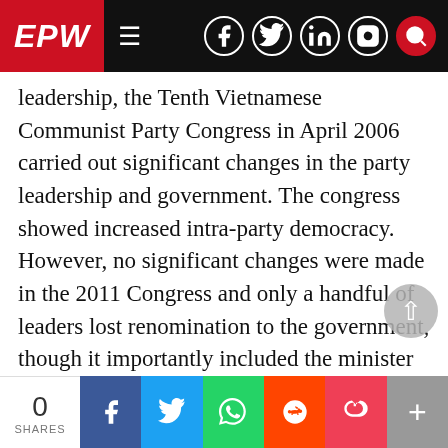EPW — navigation bar with social icons
leadership, the Tenth Vietnamese Communist Party Congress in April 2006 carried out significant changes in the party leadership and govern ment. The congress showed increased intra-party democracy. However, no significant changes were made in the 2011 Congress and only a handful of leaders lost renomination to the government, though it importantly included the minister responsible for land management. The wait continues for the younger leaders to emerge. Taken together, the 2011 Congress signalled no significant change in Vietnam's political syste… with the D'ang Công Sán Việt Nam maintainin…
0 SHARES | Facebook | Twitter | WhatsApp | Reddit | Pocket | +